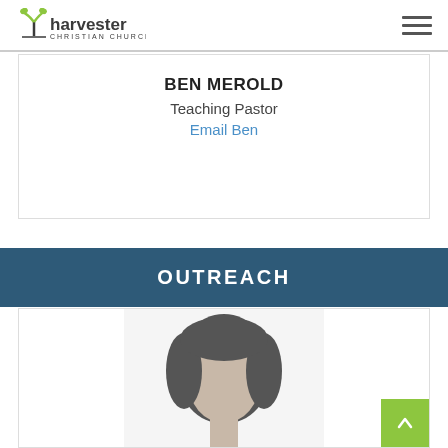Harvester Christian Church
BEN MEROLD
Teaching Pastor
Email Ben
OUTREACH
[Figure (photo): Partial grayscale photo of a person with dark hair, cropped at the bottom of the page]